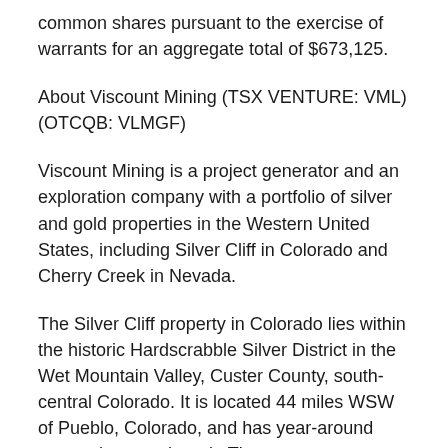common shares pursuant to the exercise of warrants for an aggregate total of $673,125.
About Viscount Mining (TSX VENTURE: VML) (OTCQB: VLMGF)
Viscount Mining is a project generator and an exploration company with a portfolio of silver and gold properties in the Western United States, including Silver Cliff in Colorado and Cherry Creek in Nevada.
The Silver Cliff property in Colorado lies within the historic Hardscrabble Silver District in the Wet Mountain Valley, Custer County, south-central Colorado. It is located 44 miles WSW of Pueblo, Colorado, and has year-around access by paved road.  The